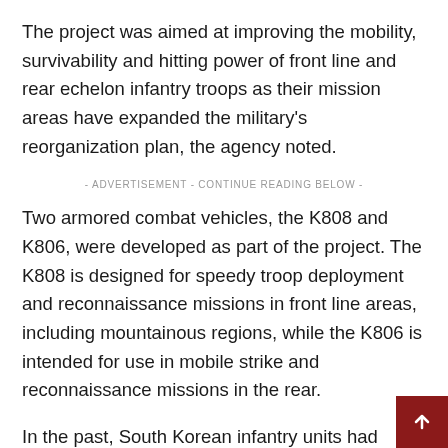The project was aimed at improving the mobility, survivability and hitting power of front line and rear echelon infantry troops as their mission areas have expanded the military's reorganization plan, the agency noted.
- ADVERTISEMENT - CONTINUE READING BELOW -
Two armored combat vehicles, the K808 and K806, were developed as part of the project. The K808 is designed for speedy troop deployment and reconnaissance missions in front line areas, including mountainous regions, while the K806 is intended for use in mobile strike and reconnaissance missions in the rear.
In the past, South Korean infantry units had relativ